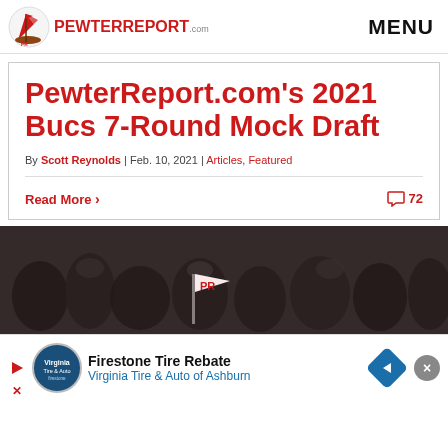PewterReport.com | MENU
PewterReport.com’s 2021 Bucs 7-Round Mock Draft
By Scott Reynolds | Feb. 10, 2021 | Articles, Featured
Read More > 72
[Figure (photo): Dark background photo strip showing football fans/crowd with a Pewter Report logo/flag visible in the foreground]
[Figure (infographic): Advertisement banner: Firestone Tire Rebate - Virginia Tire & Auto of Ashburn, with play button, logo circle, blue diamond button, and close X button]